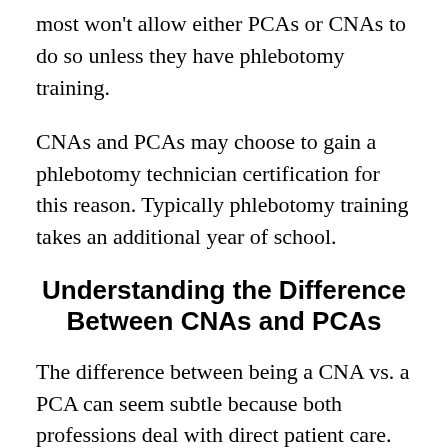most won't allow either PCAs or CNAs to do so unless they have phlebotomy training.
CNAs and PCAs may choose to gain a phlebotomy technician certification for this reason. Typically phlebotomy training takes an additional year of school.
Understanding the Difference Between CNAs and PCAs
The difference between being a CNA vs. a PCA can seem subtle because both professions deal with direct patient care.
However, CNAs have more technical skills and